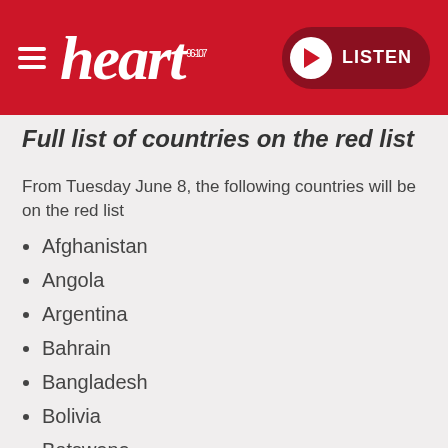heart 96-107 | LISTEN
Full list of countries on the red list
From Tuesday June 8, the following countries will be on the red list
Afghanistan
Angola
Argentina
Bahrain
Bangladesh
Bolivia
Botswana
Brazil
Burundi